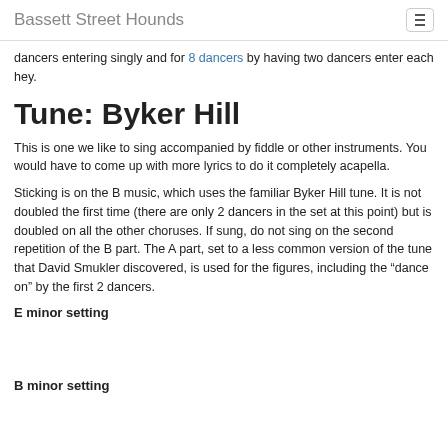Bassett Street Hounds
dancers entering singly and for 8 dancers by having two dancers enter each hey.
Tune: Byker Hill
This is one we like to sing accompanied by fiddle or other instruments. You would have to come up with more lyrics to do it completely acapella.
Sticking is on the B music, which uses the familiar Byker Hill tune. It is not doubled the first time (there are only 2 dancers in the set at this point) but is doubled on all the other choruses. If sung, do not sing on the second repetition of the B part. The A part, set to a less common version of the tune that David Smukler discovered, is used for the figures, including the “dance on” by the first 2 dancers.
E minor setting
B minor setting